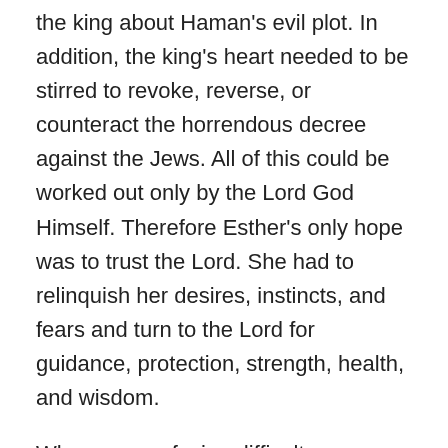the king about Haman's evil plot. In addition, the king's heart needed to be stirred to revoke, reverse, or counteract the horrendous decree against the Jews. All of this could be worked out only by the Lord God Himself. Therefore Esther's only hope was to trust the Lord. She had to relinquish her desires, instincts, and fears and turn to the Lord for guidance, protection, strength, health, and wisdom.
When we are facing difficult circumstances in life, we too must turn to the Lord and place our trust in Him. Often there is no help available other than the Lord. During those times, we are foolish if we do not call upon Him. The Lord is always available to help us, and no matter how bad our circumstances are, the Lord loves us and longs to help us.